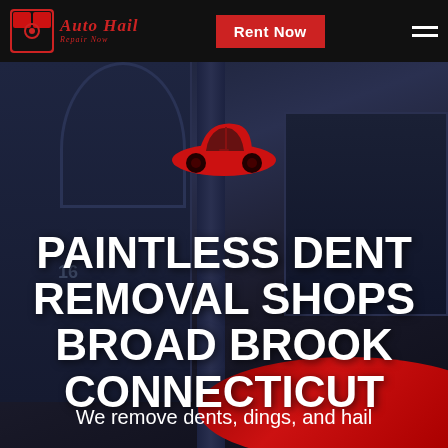Auto Hail Repair Now | Rent Now
[Figure (illustration): Red car icon silhouette on dark background with blurred street/building scene]
PAINTLESS DENT REMOVAL SHOPS BROAD BROOK CONNECTICUT
We remove dents, dings, and hail